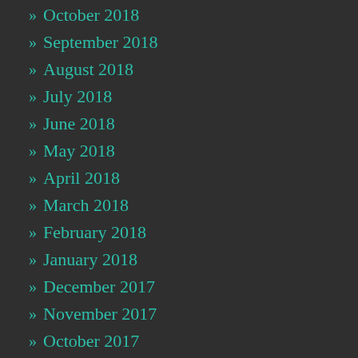» October 2018
» September 2018
» August 2018
» July 2018
» June 2018
» May 2018
» April 2018
» March 2018
» February 2018
» January 2018
» December 2017
» November 2017
» October 2017
» September 2017